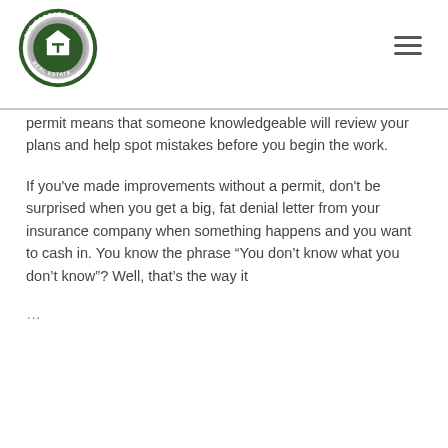[Figure (logo): The Cascade Team Real Estate circular logo with green and silver design]
permit means that someone knowledgeable will review your plans and help spot mistakes before you begin the work.
If you've made improvements without a permit, don't be surprised when you get a big, fat denial letter from your insurance company when something happens and you want to cash in. You know the phrase “You don’t know what you don’t know”? Well, that’s the way it
…